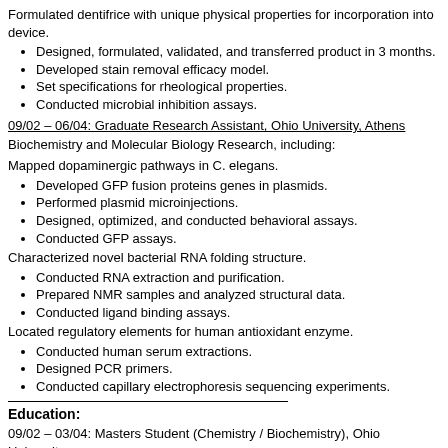Formulated dentifrice with unique physical properties for incorporation into device.
Designed, formulated, validated, and transferred product in 3 months.
Developed stain removal efficacy model.
Set specifications for rheological properties.
Conducted microbial inhibition assays.
09/02 – 06/04: Graduate Research Assistant, Ohio University, Athens
Biochemistry and Molecular Biology Research, including:
Mapped dopaminergic pathways in C. elegans.
Developed GFP fusion proteins genes in plasmids.
Performed plasmid microinjections.
Designed, optimized, and conducted behavioral assays.
Conducted GFP assays.
Characterized novel bacterial RNA folding structure.
Conducted RNA extraction and purification.
Prepared NMR samples and analyzed structural data.
Conducted ligand binding assays.
Located regulatory elements for human antioxidant enzyme.
Conducted human serum extractions.
Designed PCR primers.
Conducted capillary electrophoresis sequencing experiments.
Education:
09/02 – 03/04: Masters Student (Chemistry / Biochemistry), Ohio University
09/99 – 03/04: Bachelors of Science (Chemistry / Biochemistry), Ohio University